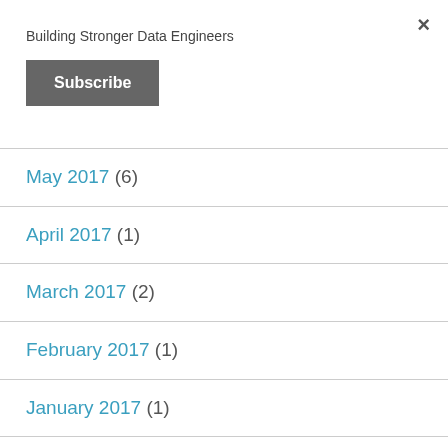×
Building Stronger Data Engineers
Subscribe
May 2017 (6)
April 2017 (1)
March 2017 (2)
February 2017 (1)
January 2017 (1)
December 2016 (6)
November 2016 (6)
October 2016 (1)